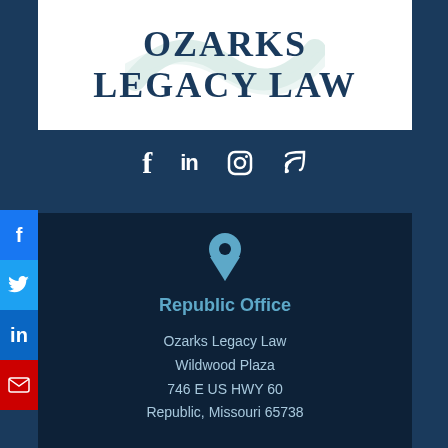[Figure (logo): Ozarks Legacy Law logo with stylized wave/swirl watermark behind serif small-caps text]
[Figure (infographic): Social media icons: Facebook (f), LinkedIn (in), Instagram, RSS feed — white icons on medium blue background]
[Figure (infographic): Side social share buttons: Facebook (blue), Twitter (light blue), LinkedIn (dark blue), Email (red)]
Republic Office
Ozarks Legacy Law
Wildwood Plaza
746 E US HWY 60
Republic, Missouri 65738